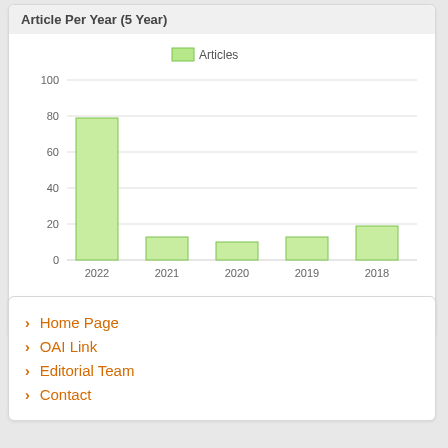Article Per Year (5 Year)
[Figure (bar-chart): Article Per Year (5 Year)]
All
Home Page
OAI Link
Editorial Team
Contact